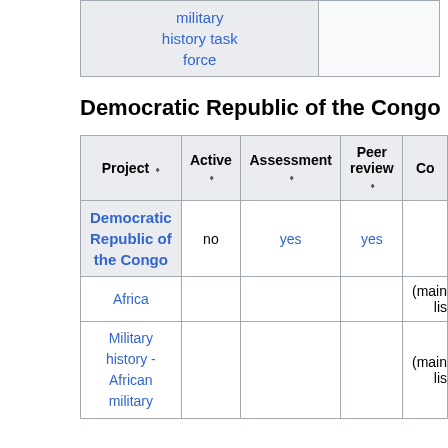| Project | Active | Assessment | Peer review | Co... |
| --- | --- | --- | --- | --- |
| military history task force |  |  |  |  |
Democratic Republic of the Congo
| Project | Active | Assessment | Peer review | Co... |
| --- | --- | --- | --- | --- |
| Democratic Republic of the Congo | no | yes | yes |  |
| Africa |  |  |  | (main lis... |
| Military history - African military |  |  |  | (main lis... |